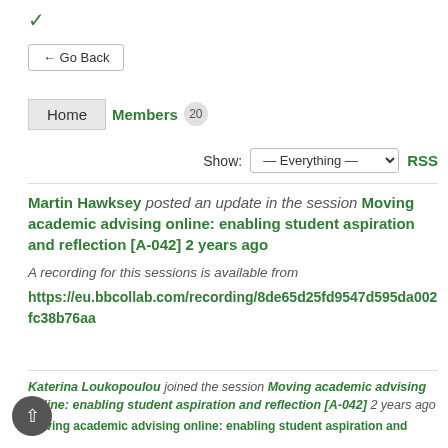✓ (chevron/dropdown indicator)
← Go Back
Home   Members 20
Show: — Everything —   RSS
Martin Hawksey posted an update in the session Moving academic advising online: enabling student aspiration and reflection [A-042] 2 years ago
A recording for this sessions is available from https://eu.bbcollab.com/recording/8de65d25fd9547d595da002fc38b76aa
Katerina Loukopoulou joined the session Moving academic advising online: enabling student aspiration and reflection [A-042] 2 years ago Moving academic advising online: enabling student aspiration and